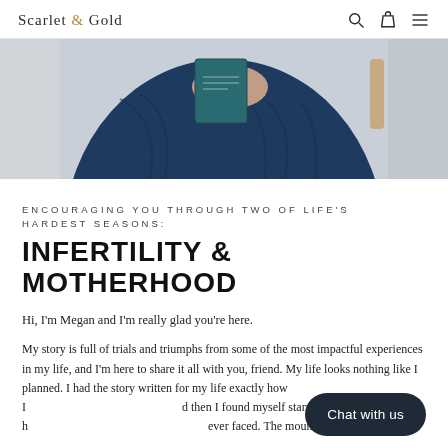Scarlet & Gold
[Figure (photo): Person in a navy blue pleated dress holding a teal/dark book against a light background]
ENCOURAGING YOU THROUGH TWO OF LIFE'S HARDEST SEASONS:
INFERTILITY & MOTHERHOOD
Hi, I'm Megan and I'm really glad you're here.
My story is full of trials and triumphs from some of the most impactful experiences in my life, and I'm here to share it all with you, friend. My life looks nothing like I planned. I had the story written for my life exactly how I wanted it, and then I found myself starring down the hardest mountain I ever faced. The mountain called infertili...
Through my journey TO motherhood, I learned that God's